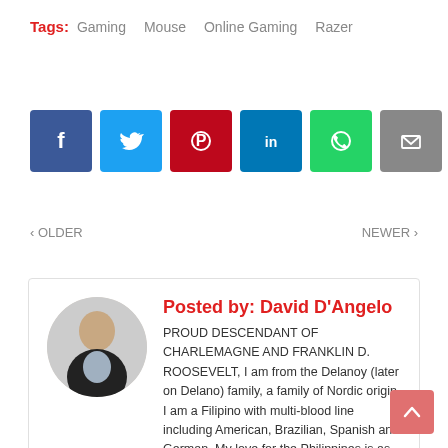Tags:  Gaming  Mouse  Online Gaming  Razer
[Figure (other): Social share buttons: Facebook, Twitter, Pinterest, LinkedIn, WhatsApp, Email]
< OLDER   NEWER >
Posted by: David D'Angelo
PROUD DESCENDANT OF CHARLEMAGNE AND FRANKLIN D. ROOSEVELT, I am from the Delanoy (later on Delano) family, a family of Nordic origin, I am a Filipino with multi-blood line including American, Brazilian, Spanish and German. My love for the Philippines is as great as I love my life. Besides the usual work, I am also a single father, a proud dad to 3 kids, a blogger, a leader, an inspirational and motivational speaker, a cosplayer, and an events organizer.